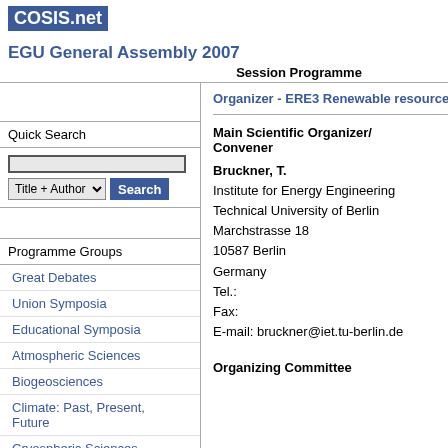[Figure (logo): COSIS.net logo with white text on dark blue background]
EGU General Assembly 2007
Session Programme
Quick Search
Programme Groups
Great Debates
Union Symposia
Educational Symposia
Atmospheric Sciences
Biogeosciences
Climate: Past, Present, Future
Cryospheric Sciences
Energy, Resources and the
Organizer - ERE3 Renewable resources in gene
Main Scientific Organizer/ Convener
Bruckner, T.
Institute for Energy Engineering
Technical University of Berlin
Marchstrasse 18
10587 Berlin
Germany
Tel.:
Fax:
E-mail: bruckner@iet.tu-berlin.de
Organizing Committee